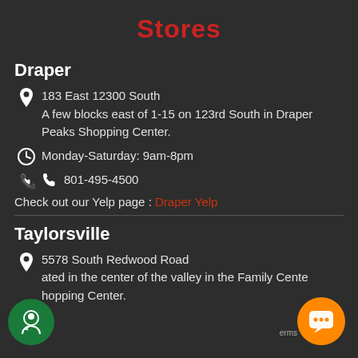Stores
Draper
183 East 12300 South
A few blocks east of 1-15 on 123rd South in Draper Peaks Shopping Center.
Monday-Saturday: 9am-8pm
801-495-4500
Check out our Yelp page : Draper Yelp
Taylorsville
5578 South Redwood Road
Located in the center of the valley in the Family Center Shopping Center.